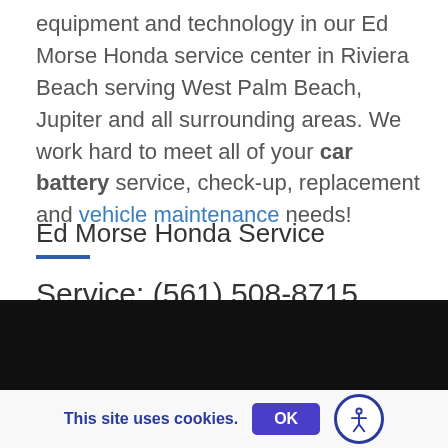equipment and technology in our Ed Morse Honda service center in Riviera Beach serving West Palm Beach, Jupiter and all surrounding areas. We work hard to meet all of your car battery service, check-up, replacement and vehicle maintenance needs!
Ed Morse Honda Service
Service: (561) 508-8715
Service Appointment >>
[Figure (photo): Black image/banner area at the bottom of the page]
This site uses cookies. OK